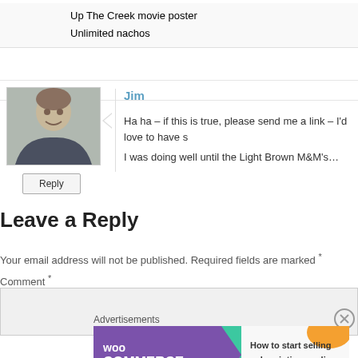Up The Creek movie poster
Unlimited nachos
Jim
Ha ha – if this is true, please send me a link – I'd love to have s
I was doing well until the Light Brown M&M's…
Leave a Reply
Your email address will not be published. Required fields are marked *
Comment *
Advertisements
[Figure (other): WooCommerce advertisement banner: How to start selling subscriptions online]